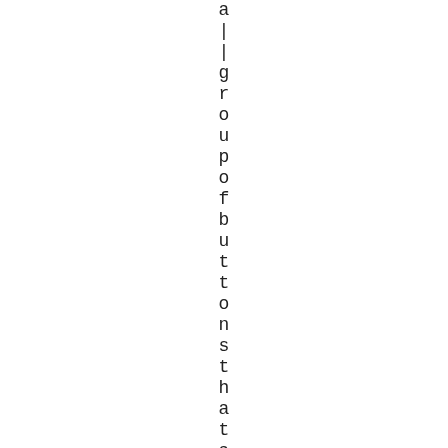a | | g r o u p o f b u t t o n s t h a t a | | s